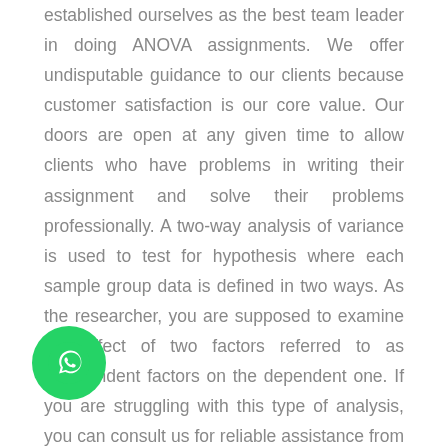established ourselves as the best team leader in doing ANOVA assignments. We offer undisputable guidance to our clients because customer satisfaction is our core value. Our doors are open at any given time to allow clients who have problems in writing their assignment and solve their problems professionally. A two-way analysis of variance is used to test for hypothesis where each sample group data is defined in two ways. As the researcher, you are supposed to examine the effect of two factors referred to as independent factors on the dependent one. If you are struggling with this type of analysis, you can consult us for reliable assistance from our best statisticians. Before you can begin with the test, you are supposed to check whether the data can actually be evaluated using this approach. That definitely happens when you assign